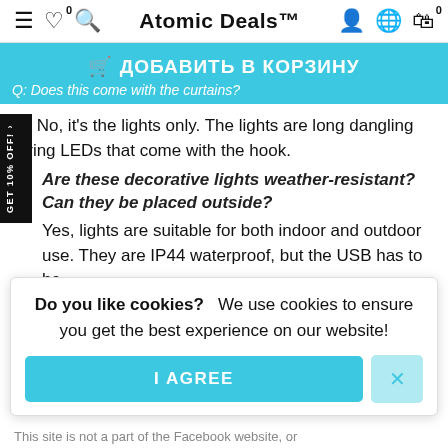Atomic Deals™
🛒 ДОБАВИТЬ В КОРЗИНУ
Q: Does this come with the curtains?
A: No, it's the lights only. The lights are long dangling string LEDs that come with the hook.
Are these decorative lights weather-resistant? Can they be placed outside?
Yes, lights are suitable for both indoor and outdoor use. They are IP44 waterproof, but the USB has to be
Do you like cookies?   We use cookies to ensure you get the best experience on our website!
I AGREE
This site is not a part of the Facebook website, or